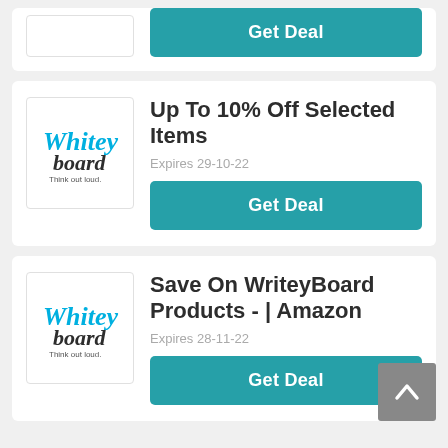[Figure (screenshot): Top partial deal card with Get Deal button visible]
Up To 10% Off Selected Items
Expires 29-10-22
Get Deal
Save On WriteyBoard Products - | Amazon
Expires 28-11-22
Get Deal